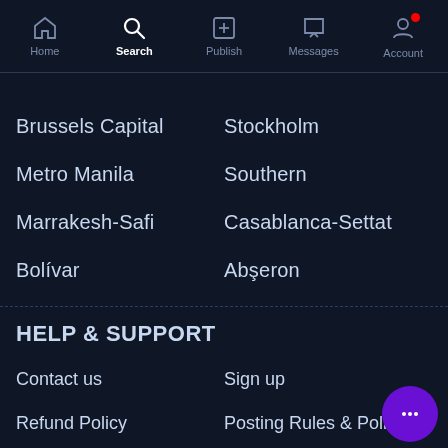Home | Search | Publish | Messages | Account
Brussels Capital
Stockholm
Metro Manila
Southern
Marrakesh-Safi
Casablanca-Settat
Bolívar
Abşeron
HELP & SUPPORT
Contact us
Sign up
Refund Policy
Posting Rules & Policies
About Us
Safety Tips
Terms of Use
Privacy & Cookies Policy
FAQs
Duplicate Ads Policy
Covid-19 Safety Advice
MayDayAds for Business